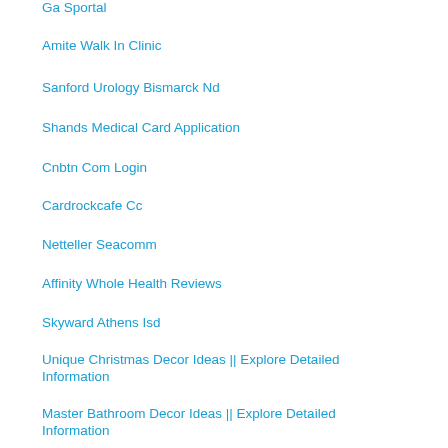Ga Sportal
Amite Walk In Clinic
Sanford Urology Bismarck Nd
Shands Medical Card Application
Cnbtn Com Login
Cardrockcafe Cc
Netteller Seacomm
Affinity Whole Health Reviews
Skyward Athens Isd
Unique Christmas Decor Ideas || Explore Detailed Information
Master Bathroom Decor Ideas || Explore Detailed Information